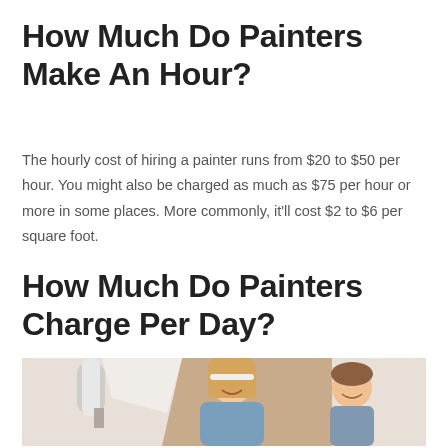How Much Do Painters Make An Hour?
The hourly cost of hiring a painter runs from $20 to $50 per hour. You might also be charged as much as $75 per hour or more in some places. More commonly, it'll cost $2 to $6 per square foot.
How Much Do Painters Charge Per Day?
[Figure (photo): Two people smiling while painting a wall; one holds a paint roller applying white paint to a beige/tan wall; a woman with a headband and a man are visible from the shoulders up.]